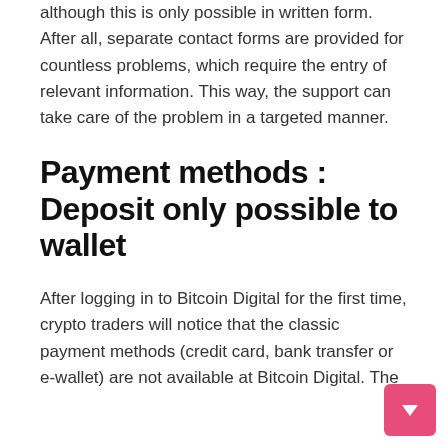although this is only possible in written form. After all, separate contact forms are provided for countless problems, which require the entry of relevant information. This way, the support can take care of the problem in a targeted manner.
Payment methods : Deposit only possible to wallet
After logging in to Bitcoin Digital for the first time, crypto traders will notice that the classic payment methods (credit card, bank transfer or e-wallet) are not available at Bitcoin Digital. The